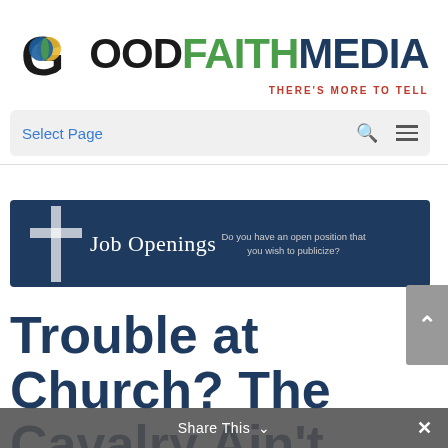[Figure (logo): Good Faith Media logo with colorful circle-G icon, 'GOOD' in black bold, 'FAITH' in green bold, 'MEDIA' in dark blue bold, and tagline 'THERE'S MORE TO TELL' in red italic]
Select Page
[Figure (other): Job Openings banner: dark navy blue rectangle with white text 'Job Openings', a cross icon, and smaller text 'Do you have an open position that you wish to publicize?']
Trouble at Church? The Cavalry Ain't